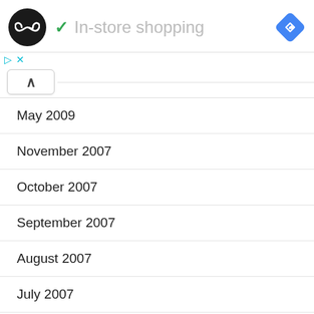[Figure (logo): Black circle logo with double arrow/infinity-like symbol in white, followed by a green checkmark and grey 'In-store shopping' text, with a blue diamond navigation icon on the right]
May 2009
November 2007
October 2007
September 2007
August 2007
July 2007
June 2007
May 2007